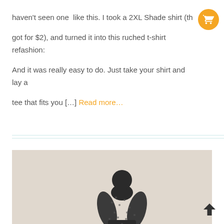haven't seen one like this. I took a 2XL Shade shirt (th got for $2), and turned it into this ruched t-shirt refashion: And it was really easy to do. Just take your shirt and lay a tee that fits you [...] Read more...
[Figure (photo): A black and white photo of a person modeling a refashioned t-shirt, shown from behind or mid-section, against a light beige/tan background.]